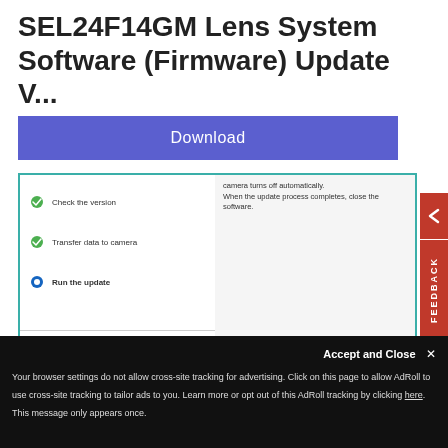SEL24F14GM Lens System Software (Firmware) Update V...
[Figure (screenshot): Download button (blue/purple) for firmware update software]
[Figure (screenshot): Firmware update software dialog showing steps: Check the version (checked), Transfer data to camera (checked), Run the update (in progress). Bottom section shows Update Information with Current version: Ver. and Version after the update: Ver., with Run and Finish buttons.]
Your browser settings do not allow cross-site tracking for advertising. Click on this page to allow AdRoll to use cross-site tracking to tailor ads to you. Learn more or opt out of this AdRoll tracking by clicking here. This message only appears once.
Accept and Close ✕